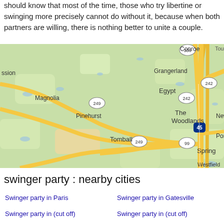should know that most of the time, those who try libertine or swinging more precisely cannot do without it, because when both partners are willing, there is nothing better to unite a couple.
[Figure (map): Google Maps showing The Woodlands area of Texas, with cities including Conroe, Grangerland, Egypt, Magnolia, Pinehurst, Tomball, Spring, Porter, New (Caney), and Westfield. Roads including I-45, TX-336, TX-242, US-249, TX-99 are visible.]
swinger party : nearby cities
Swinger party in Paris
Swinger party in Gatesville
Swinger party in (cut off)
Swinger party in (cut off)